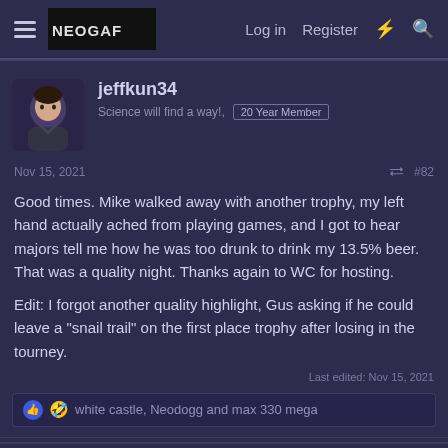neogaf.com — Log in   Register
jeffkun34
Science will find a way!,  20 Year Member
Nov 15, 2021  #82
Good times. Mike walked away with another trophy, my left hand actually ached from playing games, and I got to hear majors tell me how he was too drunk to drink my 13.5% beer. That was a quality night. Thanks again to WC for hosting.

Edit: I forgot another quality highlight, Gus asking if he could leave a "snail trail" on the first place trophy after losing in the tourney.
Last edited: Nov 15, 2021
white castle, Neodogg and max 330 mega
gusmoney
Unsure if You Asked, For a custom Rank, But Hell,